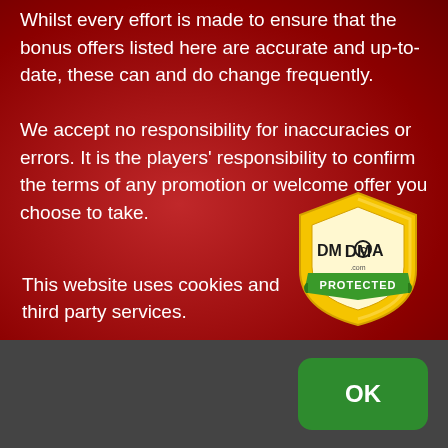Whilst every effort is made to ensure that the bonus offers listed here are accurate and up-to-date, these can and do change frequently.

We accept no responsibility for inaccuracies or errors. It is the players' responsibility to confirm the terms of any promotion or welcome offer you choose to take.
[Figure (logo): DMCA.com PROTECTED badge — gold shield shape with 'DMCA .com' text and a green ribbon banner reading 'PROTECTED']
This website uses cookies and third party services.